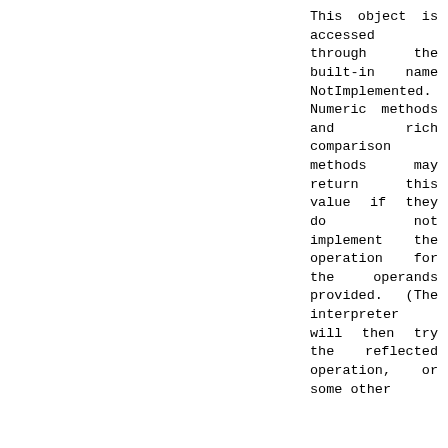This object is accessed through the built-in name NotImplemented. Numeric methods and rich comparison methods may return this value if they do not implement the operation for the operands provided. (The interpreter will then try the reflected operation, or some other